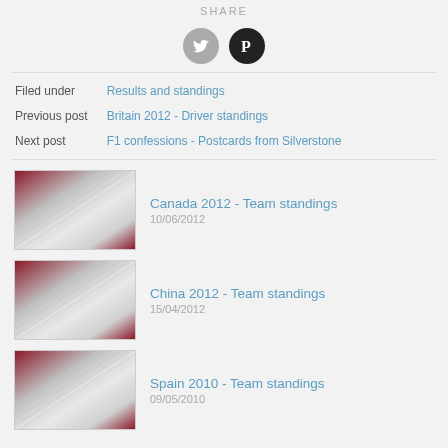SHARE
[Figure (illustration): Twitter bird icon (grey circle) and Pinterest P icon (black circle) as social share buttons]
Filed under: Results and standings
Previous post: Britain 2012 - Driver standings
Next post: F1 confessions - Postcards from Silverstone
[Figure (photo): Thumbnail image with red and white diagonal motion-blur stripes]
Canada 2012 - Team standings
10/06/2012
[Figure (photo): Thumbnail image with red and white diagonal motion-blur stripes]
China 2012 - Team standings
15/04/2012
[Figure (photo): Thumbnail image with red and white diagonal motion-blur stripes]
Spain 2010 - Team standings
09/05/2010